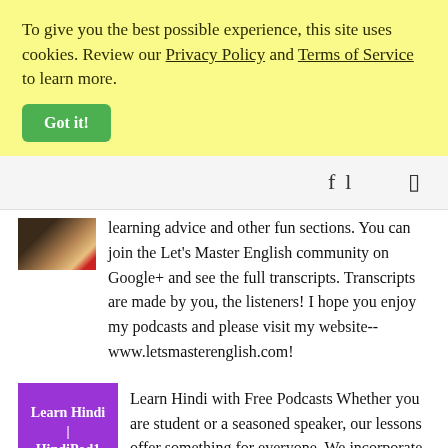To give you the best possible experience, this site uses cookies. Review our Privacy Policy and Terms of Service to learn more.
Got it!
learning advice and other fun sections. You can join the Let's Master English community on Google+ and see the full transcripts. Transcripts are made by you, the listeners! I hope you enjoy my podcasts and please visit my website-- www.letsmasterenglish.com!
[Figure (photo): Thumbnail image for Let's Master English podcast]
[Figure (illustration): Purple Learn Hindi | HindiPod1 logo thumbnail]
Learn Hindi with Free Podcasts Whether you are student or a seasoned speaker, our lessons offer something for everyone. We incorporate culture